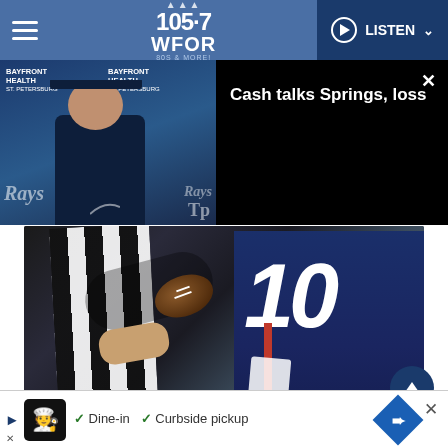105.7 WFOR — LISTEN
[Figure (screenshot): Video thumbnail showing Tampa Bay Rays manager Kevin Cash at a press conference with Bayfront Health backdrop, alongside dark overlay with video title]
Cash talks Springs, loss
[Figure (photo): NFL football game photo showing a referee and a New England Patriots player wearing jersey number 10, with an Elsa/Getty Images credit]
Elsa/Getty Images
New England Patriots v New York Jets
[Figure (other): Advertisement banner showing restaurant with dine-in and curbside pickup options]